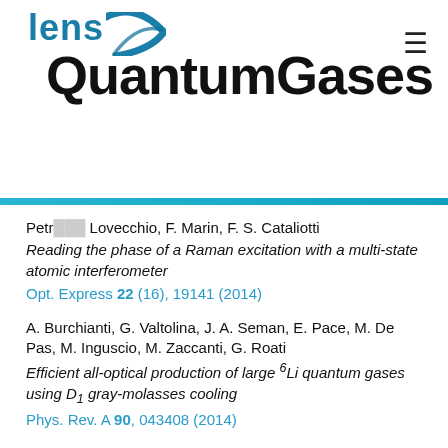[Figure (logo): LENS QuantumGases logo with teal arc and bold black text]
Petr... Lovecchio, F. Marin, F. S. Cataliotti
Reading the phase of a Raman excitation with a multi-state atomic interferometer
Opt. Express 22 (16), 19141 (2014)
A. Burchianti, G. Valtolina, J. A. Seman, E. Pace, M. De Pas, M. Inguscio, M. Zaccanti, G. Roati
Efficient all-optical production of large 6Li quantum gases using D1 gray-molasses cooling
Phys. Rev. A 90, 043408 (2014)
C. Lovecchio, F. Schäfer, S. Cherukattil, A. K. Murtaza, I. Herrera, F. S. Cataliotti, T. Calarco, S. Montangero, F. Caruso
Optimal preparation of quantum states on an atom chip device